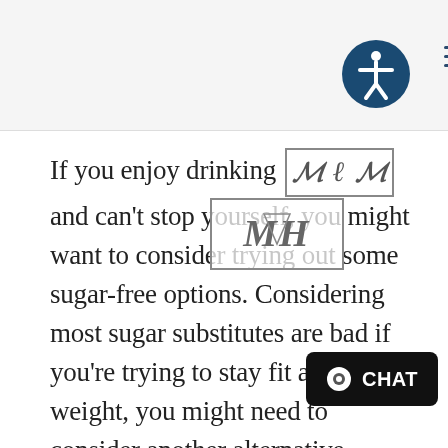[Figure (logo): Accessibility icon (person in circle) and hamburger menu lines in top right corner, on a light gray header bar]
If you enjoy drinking soda and can't stop yourself, you might want to consider trying out some sugar-free options. Considering most sugar substitutes are bad if you're trying to stay fit and lose weight, you might need to consider another alternative altogether. If this is the case, a flavored seltzer or club soda could be a good option.
For coffee fans out there, letting go of your favorite beverage might sound extremely challenging. However, if you're willing to consider no longer drinking coffee, you'll also